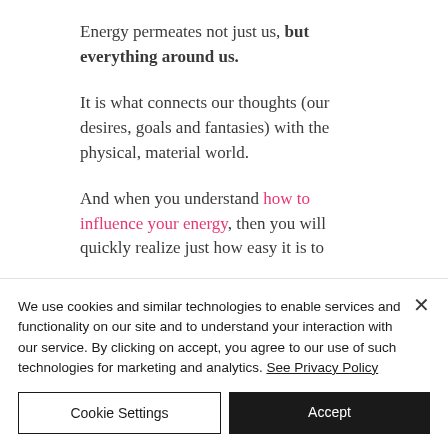Energy permeates not just us, but everything around us.
It is what connects our thoughts (our desires, goals and fantasies) with the physical, material world.
And when you understand how to influence your energy, then you will quickly realize just how easy it is to
We use cookies and similar technologies to enable services and functionality on our site and to understand your interaction with our service. By clicking on accept, you agree to our use of such technologies for marketing and analytics. See Privacy Policy